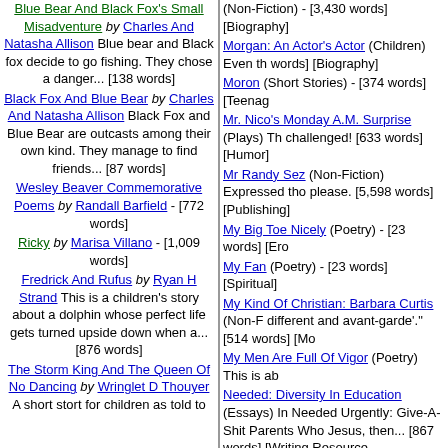Blue Bear And Black Fox's Small Misadventure by Charles And Natasha Allison Blue bear and Black fox decide to go fishing. They chose a danger... [138 words]
Black Fox And Blue Bear by Charles And Natasha Allison Black Fox and Blue Bear are outcasts among their own kind. They manage to find friends... [87 words]
Wesley Beaver Commemorative Poems by Randall Barfield - [772 words]
Ricky by Marisa Villano - [1,009 words]
Fredrick And Rufus by Ryan H Strand This is a children's story about a dolphin whose perfect life gets turned upside down when a... [876 words]
The Storm King And The Queen Of No Dancing by Wringlet D Thouyer A short stort for children as told to
(Non-Fiction) - [3,430 words] [Biography]
Morgan: An Actor's Actor (Children) Even th words] [Biography]
Moron (Short Stories) - [374 words] [Teenag
Mr. Nico's Monday A.M. Surprise (Plays) Th challenged! [633 words] [Humor]
Mr Randy Sez (Non-Fiction) Expressed tho please. [5,598 words] [Publishing]
My Big Toe Nicely (Poetry) - [23 words] [Ero
My Fan (Poetry) - [23 words] [Spiritual]
My Kind Of Christian: Barbara Curtis (Non-F different and avant-garde'. [514 words] [Mo
My Men Are Full Of Vigor (Poetry) This is ab
Needed: Diversity In Education (Essays) In Needed Urgently: Give-A-Shit Parents Who Jesus, then... [867 words] [Writing Resource
No Better Galahad (Songs) About the best
Normally A Gentle Man (Short Stories) This Soup" series that I never can forget. [334 w
Not Enough! (Essays) A short talk about try words] [Crime]
Number 6 (Short Stories) The "real" meanin
O Father Hold Us Tightly (Songs) Tune: "O such a beautiful melody that it's a pity that w Christmas lyrics probably have been penned
Oh Milly Said Molly (Poetry) This one came [26 words] [Humor]